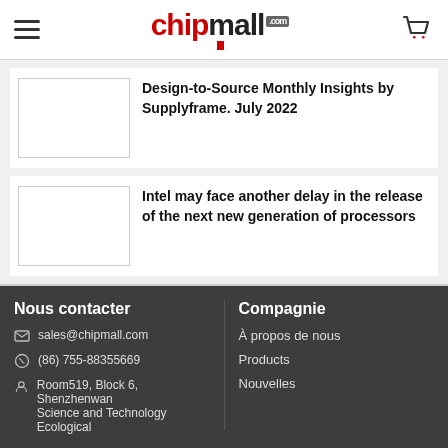chipmall.com
Design-to-Source Monthly Insights by Supplyframe. July 2022
Intel may face another delay in the release of the next new generation of processors
Nous contacter | sales@chipmall.com | (86) 755-88355669 | Room519, Block 6, Shenzhenwan Science and Technology Ecological | Compagnie | À propos de nous | Products | Nouvelles